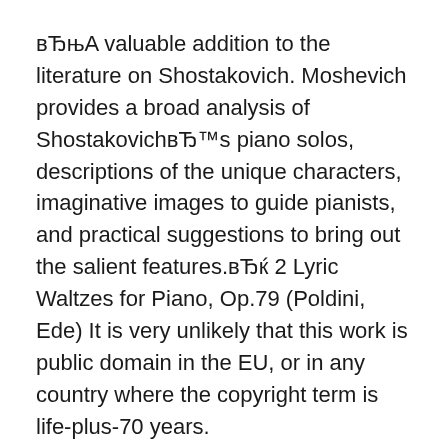вЂњA valuable addition to the literature on Shostakovich. Moshevich provides a broad analysis of ShostakovichвЂ™s piano solos, descriptions of the unique characters, imaginative images to guide pianists, and practical suggestions to bring out the salient features.вЂќ 2 Lyric Waltzes for Piano, Op.79 (Poldini, Ede) It is very unlikely that this work is public domain in the EU, or in any country where the copyright term is life-plus-70 years.
12/11/2010В В· Shostakovich - Jazz Suite No. 2 6th Movement - posted in Viva Piano: I am trying to get hold of the sheet music for Shostakovich 's Jazz